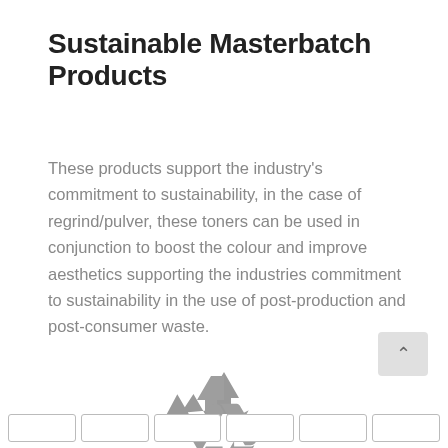Sustainable Masterbatch Products
These products support the industry's commitment to sustainability, in the case of regrind/pulver, these toners can be used in conjunction to boost the colour and improve aesthetics supporting the industries commitment to sustainability in the use of post-production and post-consumer waste.
[Figure (illustration): Recycling symbol (three chasing arrows in a triangle formation) in grey color]
Sustainable